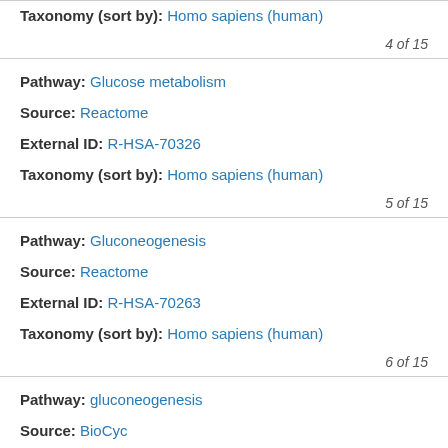Taxonomy (sort by): Homo sapiens (human)
4 of 15
Pathway: Glucose metabolism
Source: Reactome
External ID: R-HSA-70326
Taxonomy (sort by): Homo sapiens (human)
5 of 15
Pathway: Gluconeogenesis
Source: Reactome
External ID: R-HSA-70263
Taxonomy (sort by): Homo sapiens (human)
6 of 15
Pathway: gluconeogenesis
Source: BioCyc
External ID: PWY66-399
Taxonomy (sort by): Homo sapiens (human)